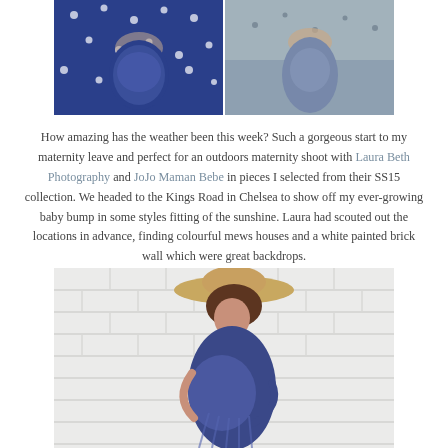[Figure (photo): Two maternity photos side by side at top: left shows pregnant woman in navy polka dot dress cradling bump; right shows pregnant woman in blue floral dress cradling bump outdoors.]
How amazing has the weather been this week? Such a gorgeous start to my maternity leave and perfect for an outdoors maternity shoot with Laura Beth Photography and JoJo Maman Bebe in pieces I selected from their SS15 collection. We headed to the Kings Road in Chelsea to show off my ever-growing baby bump in some styles fitting of the sunshine. Laura had scouted out the locations in advance, finding colourful mews houses and a white painted brick wall which were great backdrops.
[Figure (photo): Pregnant woman in navy blue sleeveless ruched dress and wide-brim straw hat leaning against white painted brick wall, cradling baby bump, looking down.]